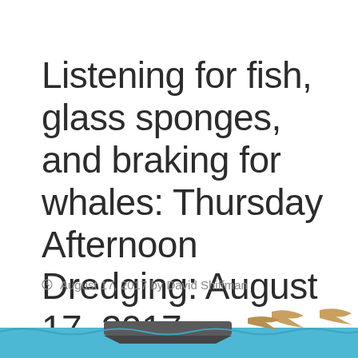Listening for fish, glass sponges, and braking for whales: Thursday Afternoon Dredging: August 17, 2017
August 17, 2017 by David Shiffman
[Figure (illustration): Partial illustration at bottom of page showing what appears to be a boat on water with fish or marine creatures visible]